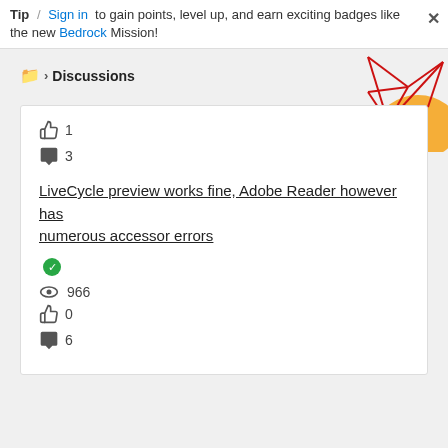Tip / Sign in to gain points, level up, and earn exciting badges like the new Bedrock Mission!
Discussions
1
3
LiveCycle preview works fine, Adobe Reader however has numerous accessor errors
966
0
6